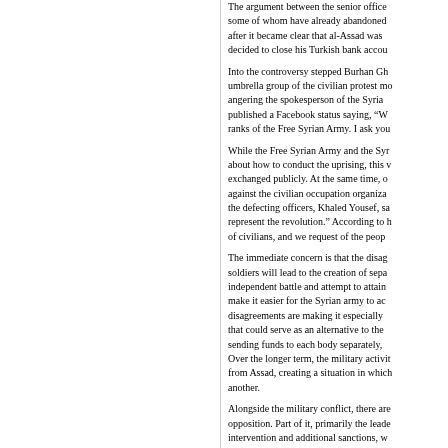The argument between the senior officers and the civilian opposition, some of whom have already abandoned the effort to reach a compromise after it became clear that al-Assad was determined to hold on to power, decided to close his Turkish bank accounts...
Into the controversy stepped Burhan Ghalioun, the head of the umbrella group of the civilian protest movement, angering the spokesperson of the Syrian Army, who published a Facebook status saying, "W... ranks of the Free Syrian Army. I ask you...
While the Free Syrian Army and the Syr... about how to conduct the uprising, this ... exchanged publicly. At the same time, o... against the civilian occupation organiza... the defecting officers, Khaled Yousef, sa... represent the revolution." According to h... of civilians, and we request of the peop...
The immediate concern is that the disag... soldiers will lead to the creation of sepa... independent battle and attempt to attain... make it easier for the Syrian army to ac... disagreements are making it especially ... that could serve as an alternative to the... sending funds to each body separately, ... Over the longer term, the military activit... from Assad, creating a situation in which... another.
Alongside the military conflict, there are... opposition. Part of it, primarily the leade... intervention and additional sanctions, w...